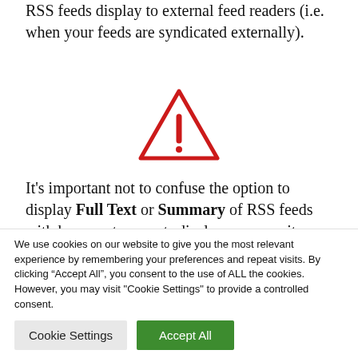RSS feeds display to external feed readers (i.e. when your feeds are syndicated externally).
[Figure (illustration): Red hand-drawn warning triangle with exclamation mark inside]
It’s important not to confuse the option to display Full Text or Summary of RSS feeds with how post excerpts display on your site.
We use cookies on our website to give you the most relevant experience by remembering your preferences and repeat visits. By clicking “Accept All”, you consent to the use of ALL the cookies. However, you may visit "Cookie Settings" to provide a controlled consent.